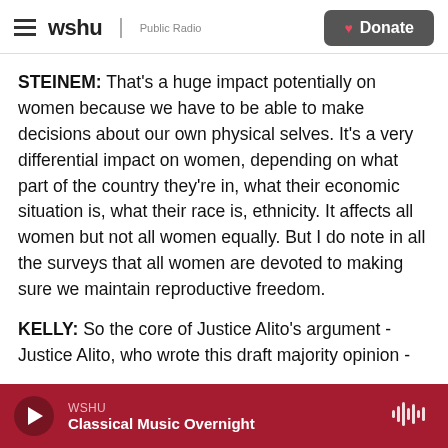wshu | Public Radio — Donate
STEINEM: That's a huge impact potentially on women because we have to be able to make decisions about our own physical selves. It's a very differential impact on women, depending on what part of the country they're in, what their economic situation is, what their race is, ethnicity. It affects all women but not all women equally. But I do note in all the surveys that all women are devoted to making sure we maintain reproductive freedom.
KELLY: So the core of Justice Alito's argument - Justice Alito, who wrote this draft majority opinion -
WSHU — Classical Music Overnight